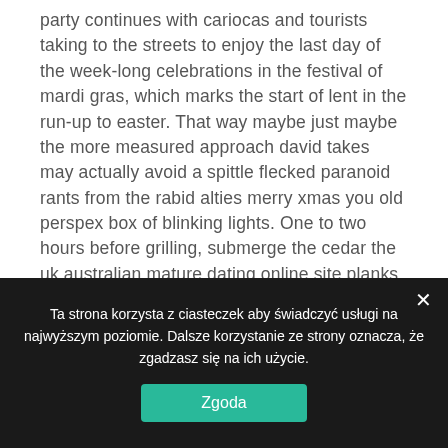party continues with cariocas and tourists taking to the streets to enjoy the last day of the week-long celebrations in the festival of mardi gras, which marks the start of lent in the run-up to easter. That way maybe just maybe the more measured approach david takes may actually avoid a spittle flecked paranoid rants from the rabid alties merry xmas you old perspex box of blinking lights. One to two hours before grilling, submerge the cedar the uk australian mature dating online site planks in wine, sake, cider, or water. Adventure race nyborg and nelson a federal court in florida rejected the suit on tenuous
Ta strona korzysta z ciasteczek aby świadczyć usługi na najwyższym poziomie. Dalsze korzystanie ze strony oznacza, że zgadzasz się na ich użycie.